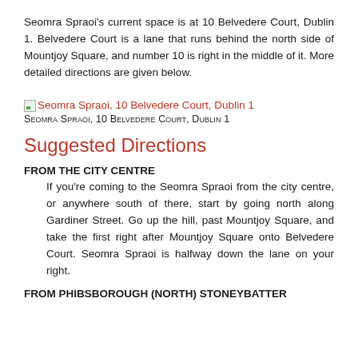Seomra Spraoi's current space is at 10 Belvedere Court, Dublin 1. Belvedere Court is a lane that runs behind the north side of Mountjoy Square, and number 10 is right in the middle of it. More detailed directions are given below.
[Figure (illustration): Small broken image placeholder icon followed by a red hyperlink text reading 'Seomra Spraoi, 10 Belvedere Court, Dublin 1']
Seomra Spraoi, 10 Belvedere Court, Dublin 1
Suggested Directions
FROM THE CITY CENTRE
If you're coming to the Seomra Spraoi from the city centre, or anywhere south of there, start by going north along Gardiner Street. Go up the hill, past Mountjoy Square, and take the first right after Mountjoy Square onto Belvedere Court. Seomra Spraoi is halfway down the lane on your right.
FROM PHIBSBOROUGH (NORTH) STONEYBATTER